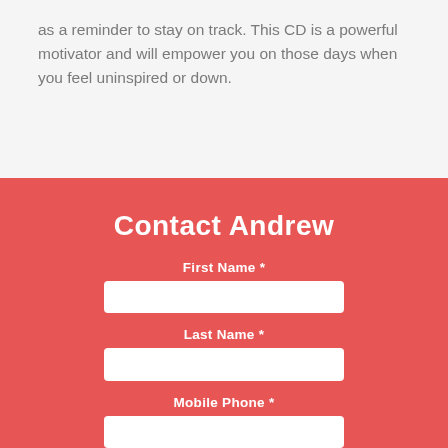as a reminder to stay on track. This CD is a powerful motivator and will empower you on those days when you feel uninspired or down.
Contact Andrew
First Name *
Last Name *
Mobile Phone *